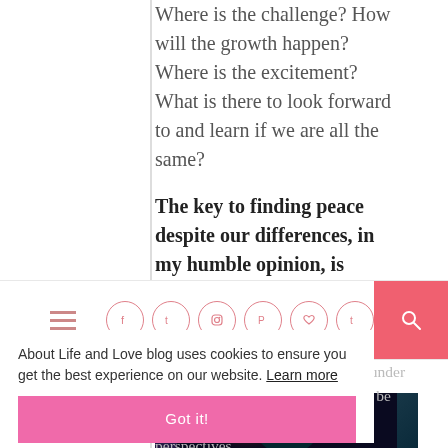Where is the challenge? How will the growth happen? Where is the excitement? What is there to look forward to and learn if we are all the same?
The key to finding peace despite our differences, in my humble opinion, is respect. Live your life,
[Figure (screenshot): Website navigation bar with hamburger menu icon, social media icons (Facebook, Twitter, Instagram, Pinterest, heart, Tumblr) in pink circle outlines, and a pink search button on the right]
About Life and Love blog uses cookies to ensure you get the best experience on our website. Learn more
Respect the other person's idiosyncrasies. Because we all came from different backgrounds. Even siblings living under one roof for years could turn out to be different people with different perspectives.
[Figure (photo): Bottom portion of an image with dark colorful background, appears to be a person or figure]